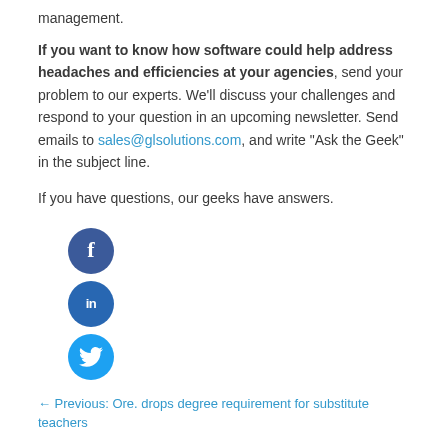management.
If you want to know how software could help address headaches and efficiencies at your agencies, send your problem to our experts. We'll discuss your challenges and respond to your question in an upcoming newsletter. Send emails to sales@glsolutions.com, and write "Ask the Geek" in the subject line.
If you have questions, our geeks have answers.
[Figure (illustration): Three social media icons stacked vertically: Facebook (dark blue circle with 'f'), LinkedIn (blue circle with 'in'), Twitter (light blue circle with bird icon)]
← Previous: Ore. drops degree requirement for substitute teachers